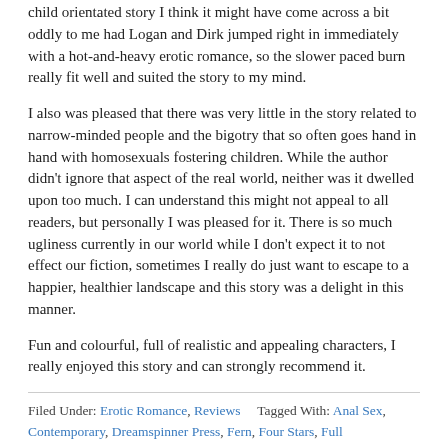child orientated story I think it might have come across a bit oddly to me had Logan and Dirk jumped right in immediately with a hot-and-heavy erotic romance, so the slower paced burn really fit well and suited the story to my mind.
I also was pleased that there was very little in the story related to narrow-minded people and the bigotry that so often goes hand in hand with homosexuals fostering children. While the author didn't ignore that aspect of the real world, neither was it dwelled upon too much. I can understand this might not appeal to all readers, but personally I was pleased for it. There is so much ugliness currently in our world while I don't expect it to not effect our fiction, sometimes I really do just want to escape to a happier, healthier landscape and this story was a delight in this manner.
Fun and colourful, full of realistic and appealing characters, I really enjoyed this story and can strongly recommend it.
Filed Under: Erotic Romance, Reviews   Tagged With: Anal Sex, Contemporary, Dreamspinner Press, Fern, Four Stars, Full